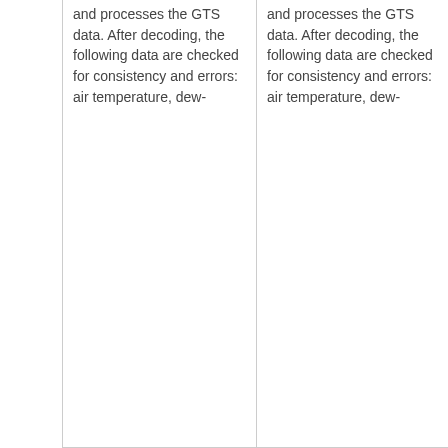| and processes the GTS data. After decoding, the following data are checked for consistency and errors: air temperature, dew- | and processes the GTS data. After decoding, the following data are checked for consistency and errors: air temperature, dew- |